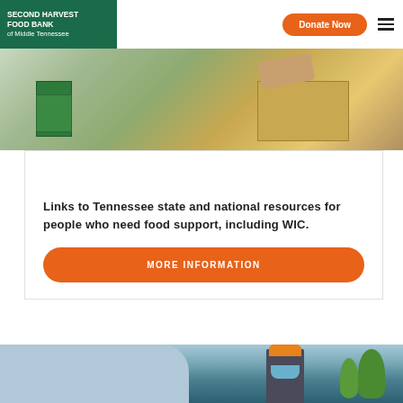SECOND HARVEST FOOD BANK of Middle Tennessee — Donate Now
[Figure (photo): Photo of cardboard boxes and canned goods being handled at a food bank]
Helpful Resources
Links to Tennessee state and national resources for people who need food support, including WIC.
MORE INFORMATION
[Figure (photo): Photo of a worker wearing an orange hat and blue face mask at a food distribution event]